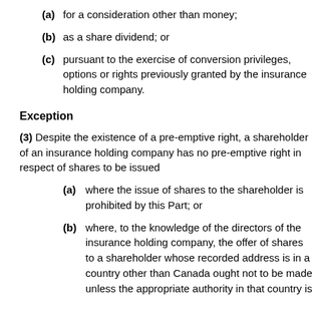(a) for a consideration other than money;
(b) as a share dividend; or
(c) pursuant to the exercise of conversion privileges, options or rights previously granted by the insurance holding company.
Exception
(3) Despite the existence of a pre-emptive right, a shareholder of an insurance holding company has no pre-emptive right in respect of shares to be issued
(a) where the issue of shares to the shareholder is prohibited by this Part; or
(b) where, to the knowledge of the directors of the insurance holding company, the offer of shares to a shareholder whose recorded address is in a country other than Canada ought not to be made unless the appropriate authority in that country is provided with information in addition to that